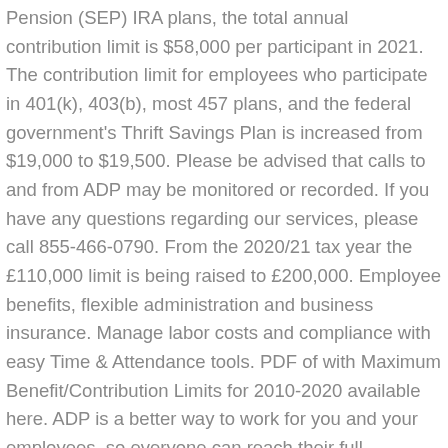Pension (SEP) IRA plans, the total annual contribution limit is $58,000 per participant in 2021. The contribution limit for employees who participate in 401(k), 403(b), most 457 plans, and the federal government's Thrift Savings Plan is increased from $19,000 to $19,500. Please be advised that calls to and from ADP may be monitored or recorded. If you have any questions regarding our services, please call 855-466-0790. From the 2020/21 tax year the £110,000 limit is being raised to £200,000. Employee benefits, flexible administration and business insurance. Manage labor costs and compliance with easy Time & Attendance tools. PDF of with Maximum Benefit/Contribution Limits for 2010-2020 available here. ADP is a better way to work for you and your employees, so everyone can reach their full potential. We're reimagining what it means to work, and doing so in profound ways. However, the employer's contribution is deducted from the employer's trading profits for tax purposes and can normally only be ... Which pension plan limits are changing. The tables below summarize the applicable limits from 2015-2020 for most